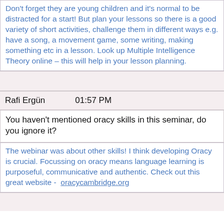Don't forget they are young children and it's normal to be distracted for a start! But plan your lessons so there is a good variety of short activities, challenge them in different ways e.g. have a song, a movement game, some writing, making something etc in a lesson. Look up Multiple Intelligence Theory online – this will help in your lesson planning.
Rafi Ergün    01:57 PM
You haven't mentioned oracy skills in this seminar, do you ignore it?
The webinar was about other skills! I think developing Oracy is crucial. Focussing on oracy means language learning is purposeful, communicative and authentic. Check out this great website - oracycambridge.org